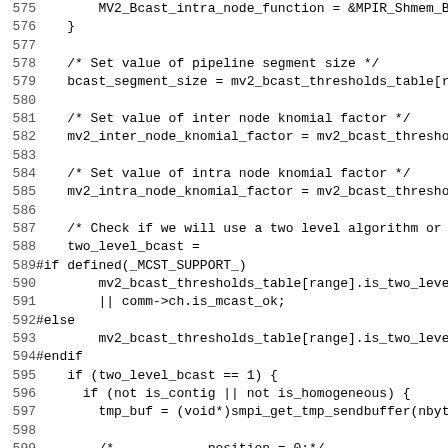Source code listing, lines 575-606, C preprocessor/MPI broadcast code